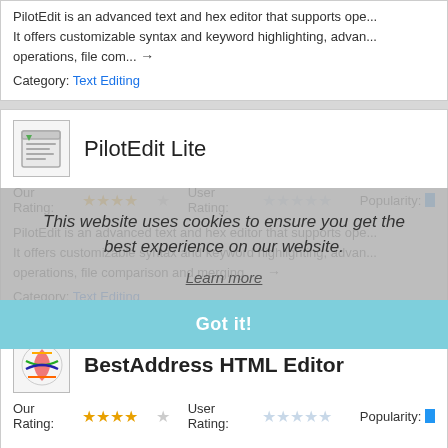PilotEdit is an advanced text and hex editor that supports ope... It offers customizable syntax and keyword highlighting, advan... operations, file com... →
Category: Text Editing
PilotEdit Lite
Our Rating: ★★★★☆  User Rating: ★★★★★  Popularity:
PilotEdit is an advanced text and hex editor that supports ope... It offers customizable syntax and keyword highlighting, advan... operations, file comparison and merging. ... →
Category: Text Editing
BestAddress HTML Editor
Our Rating: ★★★★☆  User Rating: ★★★★★  Popularity:
This website uses cookies to ensure you get the best experience on our website. Learn more
Got it!